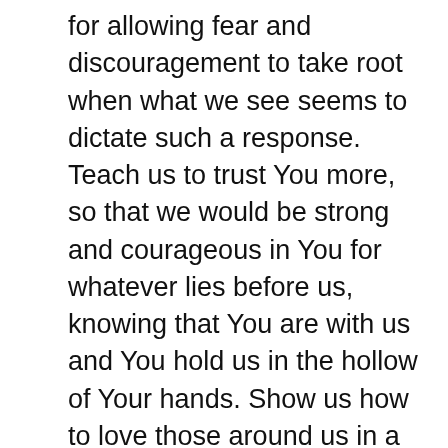for allowing fear and discouragement to take root when what we see seems to dictate such a response. Teach us to trust You more, so that we would be strong and courageous in You for whatever lies before us, knowing that You are with us and You hold us in the hollow of Your hands. Show us how to love those around us in a way that offers strength and courage, as they see Your presence and help provided in us. May many come into a lasting relationship with You. Be glorified O God, as we seek strength and courage from You, no matter what we face. Amen.